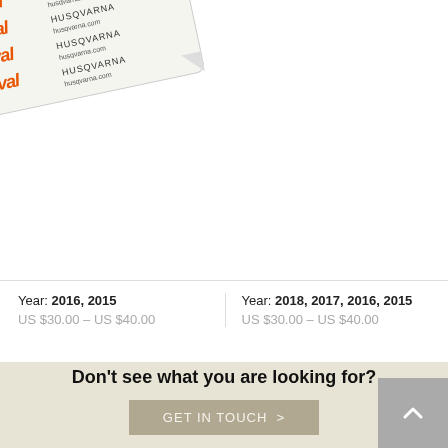[Figure (photo): Orange and black bicycle wheel rim sticker/decal sheet with multiple stickers arranged at an angle on a white background]
Year: 2016, 2015
US $30.00 – US $40.00
Year: 2018, 2017, 2016, 2015
US $30.00 – US $40.00
Don't see what you are looking for?
GET IN TOUCH >